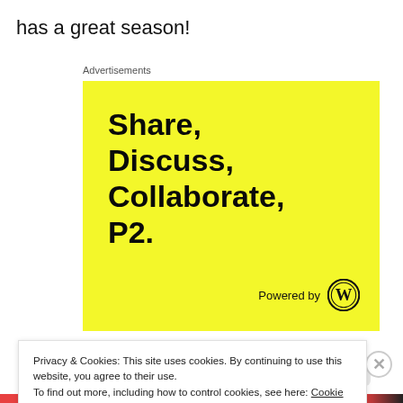has a great season!
Advertisements
[Figure (illustration): Yellow advertisement box with bold black text reading 'Share, Discuss, Collaborate, P2.' and 'Powered by WordPress' logo at the bottom right.]
Privacy & Cookies: This site uses cookies. By continuing to use this website, you agree to their use.
To find out more, including how to control cookies, see here: Cookie Policy
Close and accept